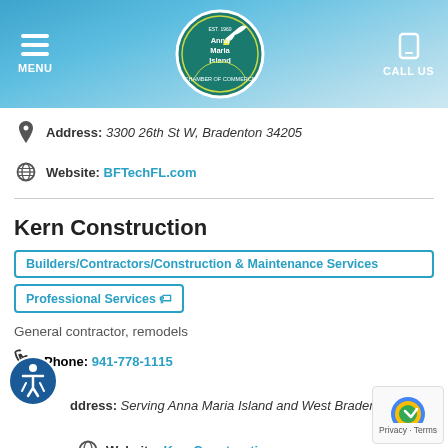[Figure (screenshot): Anna Maria Island Chamber of Commerce website header with navigation menu button on left, circular teal logo in center, and phone/call us button on right, against a blue sky background]
Address: 3300 26th St W, Bradenton 34205
Website: BFTechFL.com
Kern Construction
Builders/Contractors/Construction & Maintenance Services
Professional Services
General contractor, remodels
Phone: 941-778-1115
Address: Serving Anna Maria Island and West Bradenton, FL
Website: KernConstruction.com